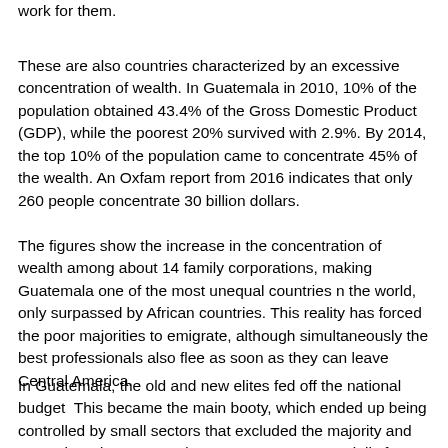work for them.
These are also countries characterized by an excessive concentration of wealth. In Guatemala in 2010, 10% of the population obtained 43.4% of the Gross Domestic Product (GDP), while the poorest 20% survived with 2.9%. By 2014, the top 10% of the population came to concentrate 45% of the wealth. An Oxfam report from 2016 indicates that only 260 people concentrate 30 billion dollars.
The figures show the increase in the concentration of wealth among about 14 family corporations, making Guatemala one of the most unequal countries n the world, only surpassed by African countries. This reality has forced the poor majorities to emigrate, although simultaneously the best professionals also flee as soon as they can leave Central America.
In Guatemala, the old and new elites fed off the national budget  This became the main booty, which ended up being controlled by small sectors that excluded the majority and exacerbated poverty and extreme poverty, especially for indigenous peoples.